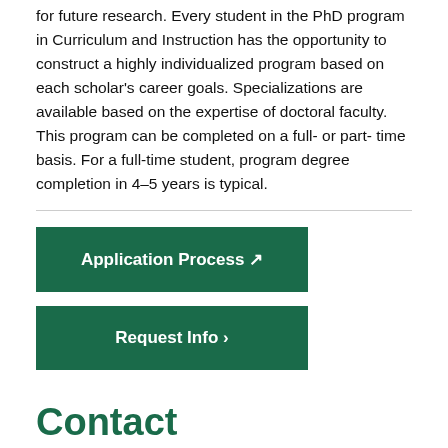for future research. Every student in the PhD program in Curriculum and Instruction has the opportunity to construct a highly individualized program based on each scholar's career goals. Specializations are available based on the expertise of doctoral faculty. This program can be completed on a full- or part- time basis. For a full-time student, program degree completion in 4–5 years is typical.
Application Process ↗
Request Info ›
Contact